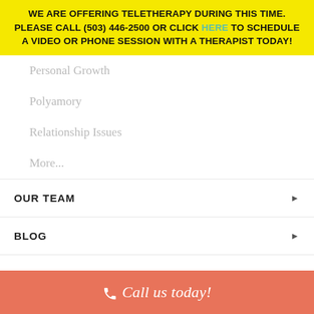WE ARE OFFERING TELETHERAPY DURING THIS TIME. PLEASE CALL (503) 446-2500 OR CLICK HERE TO SCHEDULE A VIDEO OR PHONE SESSION WITH A THERAPIST TODAY!
Personal Growth
Polyamory
Relationship Issues
More...
OUR TEAM
BLOG
CLIENT PORTAL
CONTACT US
Call us today!